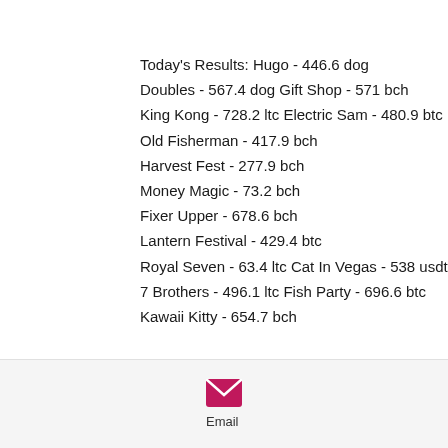Today's Results:
Hugo - 446.6 dog
Doubles - 567.4 dog
Gift Shop - 571 bch
King Kong - 728.2 ltc
Electric Sam - 480.9 btc
Old Fisherman - 417.9 bch
Harvest Fest - 277.9 bch
Money Magic - 73.2 bch
Fixer Upper - 678.6 bch
Lantern Festival - 429.4 btc
Royal Seven - 63.4 ltc
Cat In Vegas - 538 usdt
7 Brothers - 496.1 ltc
Fish Party - 696.6 btc
Kawaii Kitty - 654.7 bch
[Figure (logo): Pink email envelope icon with label 'Email']